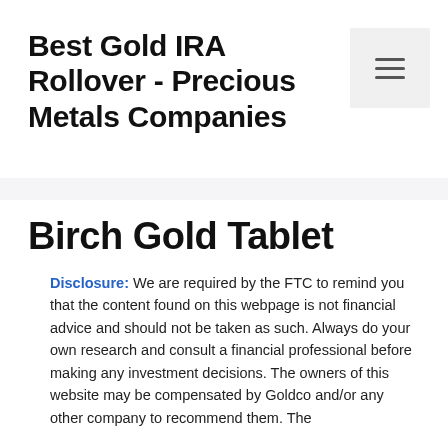Best Gold IRA Rollover - Precious Metals Companies
Birch Gold Tablet
Disclosure: We are required by the FTC to remind you that the content found on this webpage is not financial advice and should not be taken as such. Always do your own research and consult a financial professional before making any investment decisions. The owners of this website may be compensated by Goldco and/or any other company to recommend them. The